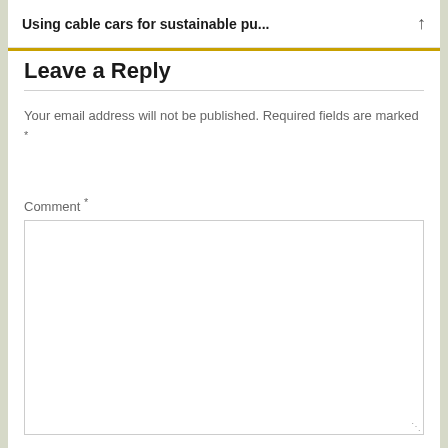Using cable cars for sustainable pu...
Leave a Reply
Your email address will not be published. Required fields are marked *
Comment *
Name *